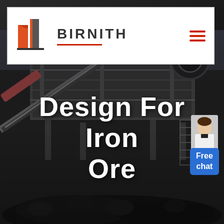[Figure (logo): Birnith company logo: orange/red building icon with two rectangular forms, beside bold text BIRNITH with a red underline, and a red hamburger menu icon on the right, all on white header bar background]
[Figure (photo): Dark industrial photograph of a mobile crushing station machine with heavy equipment, conveyor belts, and piled black iron ore/coal on the ground. A chat assistant avatar appears in the upper right corner with a blue 'Free chat' button.]
Design For Iron Ore